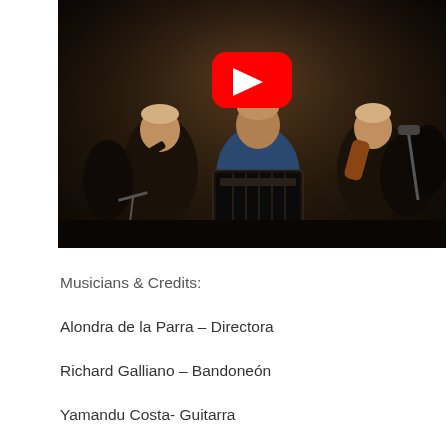[Figure (screenshot): YouTube video screenshot showing musicians performing with bandoneón and violins in an orchestra setting. A YouTube play button (red rectangle with white triangle) is overlaid in the center-upper area of the image.]
Musicians & Credits:
Alondra de la Parra – Directora
Richard Galliano – Bandoneón
Yamandu Costa- Guitarra